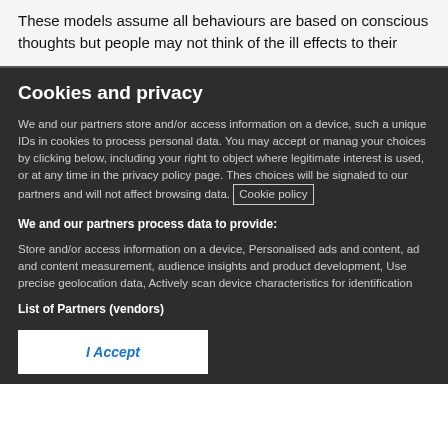These models assume all behaviours are based on conscious thoughts but people may not think of the ill effects to their
Cookies and privacy
We and our partners store and/or access information on a device, such as unique IDs in cookies to process personal data. You may accept or manage your choices by clicking below, including your right to object where legitimate interest is used, or at any time in the privacy policy page. These choices will be signaled to our partners and will not affect browsing data. Cookie policy
We and our partners process data to provide:
Store and/or access information on a device, Personalised ads and content, ad and content measurement, audience insights and product development, Use precise geolocation data, Actively scan device characteristics for identification
List of Partners (vendors)
I Accept